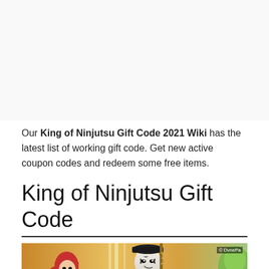[Figure (other): Advertisement placeholder area (blank white space)]
Our King of Ninjutsu Gift Code 2021 Wiki has the latest list of working gift code. Get new active coupon codes and redeem some free items.
King of Ninjutsu Gift Code
[Figure (illustration): Anime-style illustration showing ninja characters including a white-faced ninja with dark markings holding a staff, a red-haired female character, and a green character on the right. Text overlay reads 'King of Ninjutsu' in bold white on dark background with yellow border. Copyright mark reading '© DvnePa' visible in top right of image.]